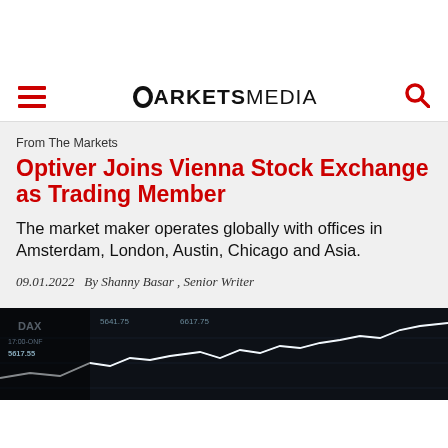MARKETS MEDIA
From The Markets
Optiver Joins Vienna Stock Exchange as Trading Member
The market maker operates globally with offices in Amsterdam, London, Austin, Chicago and Asia.
09.01.2022   By Shanny Basar , Senior Writer
[Figure (photo): Financial market chart showing DAX stock exchange data with line graph on dark background]